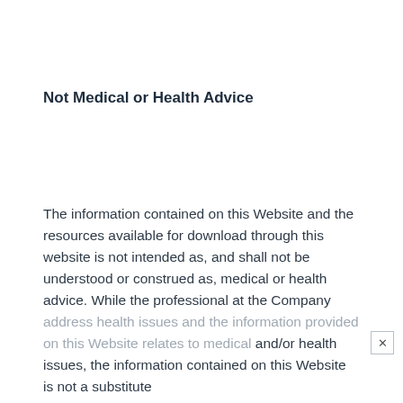Not Medical or Health Advice
The information contained on this Website and the resources available for download through this website is not intended as, and shall not be understood or construed as, medical or health advice. While the professional at the Company address health issues and the information provided on this Website relates to medical and/or health issues, the information contained on this Website is not a substitute